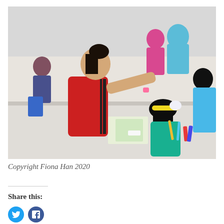[Figure (photo): A young woman in a red polo shirt leans across a table helping a child with a craft project, placing a yellow paper crown or headband on the child's head. Several other children are seated around the table working on art projects with papers, pencils, and colored markers. The setting appears to be an educational or volunteer activity in a community hall.]
Copyright Fiona Han 2020
Share this: